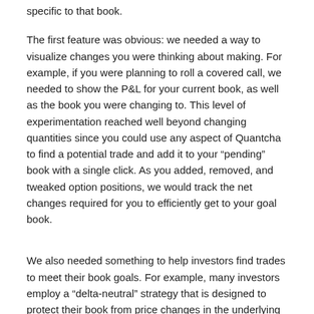specific to that book.
The first feature was obvious: we needed a way to visualize changes you were thinking about making. For example, if you were planning to roll a covered call, we needed to show the P&L for your current book, as well as the book you were changing to. This level of experimentation reached well beyond changing quantities since you could use any aspect of Quantcha to find a potential trade and add it to your “pending” book with a single click. As you added, removed, and tweaked option positions, we would track the net changes required for you to efficiently get to your goal book.
We also needed something to help investors find trades to meet their book goals. For example, many investors employ a “delta-neutral” strategy that is designed to protect their book from price changes in the underlying stock. They usually look to other Greeks for profit, such as vega or theta, and want to hedge out the risks associated with delta and gamma. While books can easily be delta-hedged with stock, it’s much less straightforward to hedge gamma and the other Greeks since you need to use options. For this, we developed an “adjustment search” that would scan the available options that meets an investor’s parameters to determine the best ways they can balance their book to